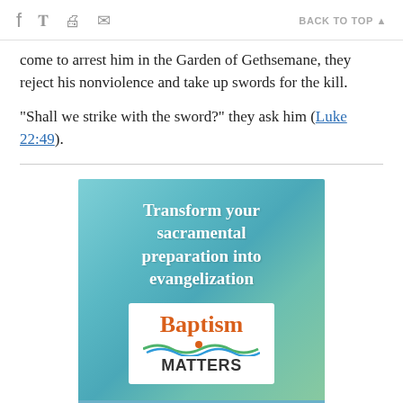f  [twitter]  [print]  [email]   BACK TO TOP ▲
come to arrest him in the Garden of Gethsemane, they reject his nonviolence and take up swords for the kill.
"Shall we strike with the sword?" they ask him (Luke 22:49).
[Figure (infographic): Advertisement for 'Baptism Matters' — an online sacramental preparation evangelization tool from RENEW International. Blue-green watercolor background with white bold text 'Transform your sacramental preparation into evangelization', a white box containing the Baptism Matters logo in orange and dark text with wave graphic, and a teal footer bar reading 'An online solution from RENEW International'.]